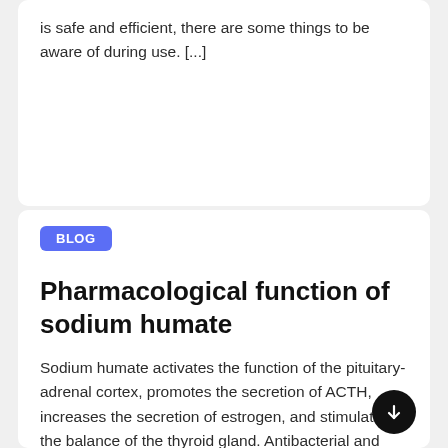is safe and efficient, there are some things to be aware of during use. [...]
BLOG
Pharmacological function of sodium humate
Sodium humate activates the function of the pituitary-adrenal cortex, promotes the secretion of ACTH, increases the secretion of estrogen, and stimulates the balance of the thyroid gland. Antibacterial and anti-inflammatory effects. Sodium humate can promote the release of corticosteroids and ACTH by activating the pituitary-adrenal system, inhibiting the synthesis